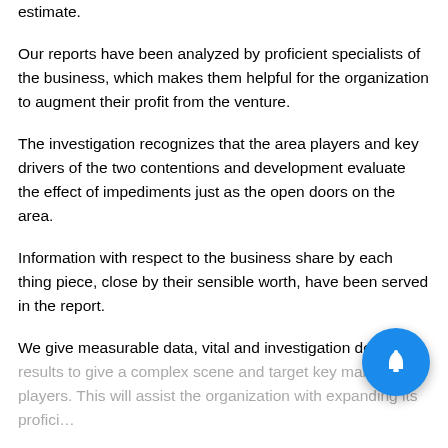estimate.
Our reports have been analyzed by proficient specialists of the business, which makes them helpful for the organization to augment their profit from the venture.
The investigation recognizes that the area players and key drivers of the two contentions and development evaluate the effect of impediments just as the open doors on the area.
Information with respect to the business share by each thing piece, close by their sensible worth, have been served in the report.
We give measurable data, vital and investigation devi… results to give a complex scene and target key market players. This will assist the organization with expanding its profici…